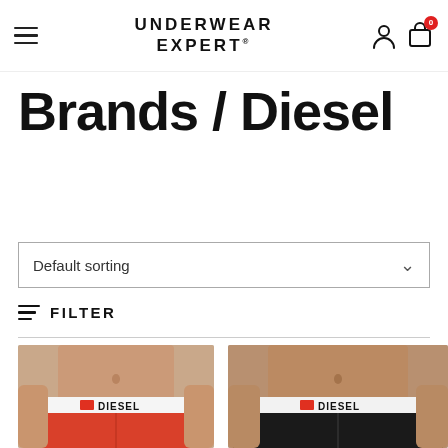UNDERWEAR EXPERT
Brands / Diesel
Default sorting
FILTER
[Figure (photo): Two product photos of Diesel underwear: left shows red boxer briefs with white Diesel waistband on male model torso; right shows black boxer briefs with white Diesel waistband on male model torso.]